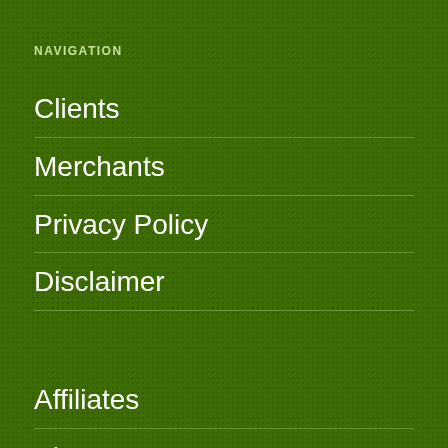NAVIGATION
Clients
Merchants
Privacy Policy
Disclaimer
Affiliates
About Us